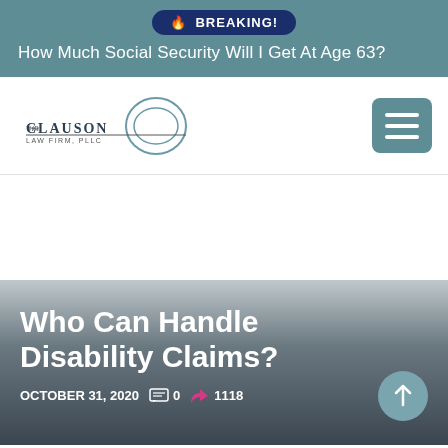BREAKING! How Much Social Security Will I Get At Age 63?
[Figure (logo): The Clauson Law Firm, PLLC logo with circular design]
Who Can Handle Disability Claims?
OCTOBER 31, 2020   0   1118